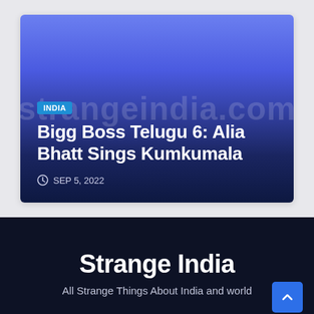[Figure (screenshot): Article card with gradient background (blue to dark navy). Shows a badge labeled INDIA, a title 'Bigg Boss Telugu 6: Alia Bhatt Sings Kumkumala', and date 'SEP 5, 2022'. A watermark text 'strangeindia.com' is overlaid.]
Strange India
All Strange Things About India and world